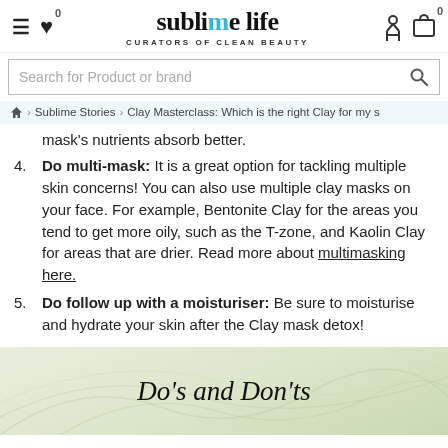sublime life CURATORS OF CLEAN BEAUTY
Search for Product or brand
Home > Sublime Stories > Clay Masterclass: Which is the right Clay for my s...
mask's nutrients absorb better.
4. Do multi-mask: It is a great option for tackling multiple skin concerns! You can also use multiple clay masks on your face. For example, Bentonite Clay for the areas you tend to get more oily, such as the T-zone, and Kaolin Clay for areas that are drier. Read more about multimasking here.
5. Do follow up with a moisturiser: Be sure to moisturise and hydrate your skin after the Clay mask detox!
[Figure (photo): Light green/cream background with leaf texture, title text 'Do's and Don'ts' in italic serif font]